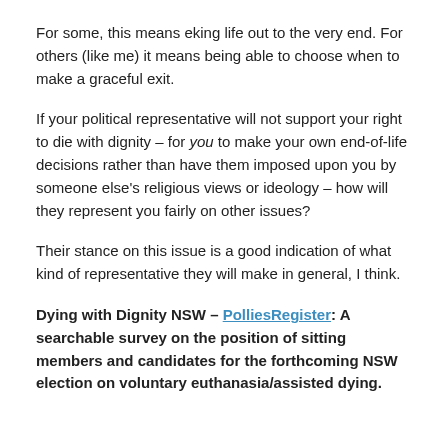For some, this means eking life out to the very end. For others (like me) it means being able to choose when to make a graceful exit.
If your political representative will not support your right to die with dignity – for you to make your own end-of-life decisions rather than have them imposed upon you by someone else's religious views or ideology – how will they represent you fairly on other issues?
Their stance on this issue is a good indication of what kind of representative they will make in general, I think.
Dying with Dignity NSW – PolliesRegister: A searchable survey on the position of sitting members and candidates for the forthcoming NSW election on voluntary euthanasia/assisted dying.